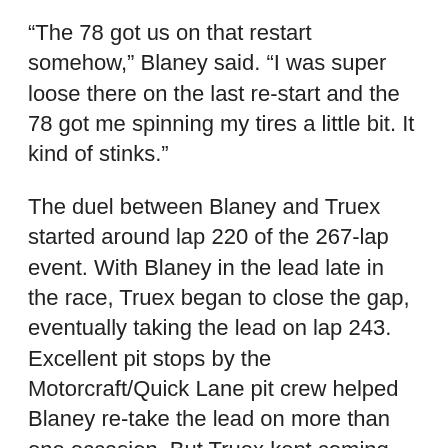“The 78 got us on that restart somehow,” Blaney said. “I was super loose there on the last re-start and the 78 got me spinning my tires a little bit. It kind of stinks.”
The duel between Blaney and Truex started around lap 220 of the 267-lap event. With Blaney in the lead late in the race, Truex began to close the gap, eventually taking the lead on lap 243. Excellent pit stops by the Motorcraft/Quick Lane pit crew helped Blaney re-take the lead on more than one occasion. But Truex kept coming back on re-starts. Truex took the lead for good on the last re-start with two laps to go.
“When we had the caution at the end and beat 78 off pit road, I thought we were in a pretty good spot and he made a really good move on that re-start and I wasn’t able to pass him,” Blaney explained. “Toward the end of the race